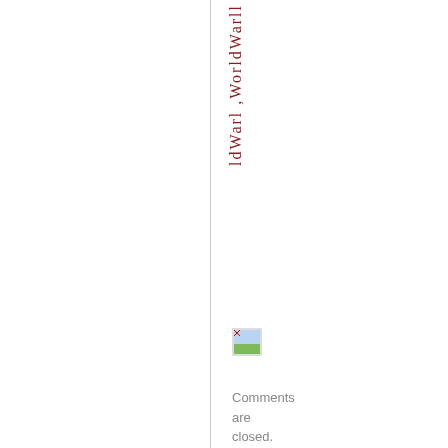ldWarl ,WorldWarll
[Figure (other): Broken image icon, small thumbnail with landscape placeholder]
Comments are closed.